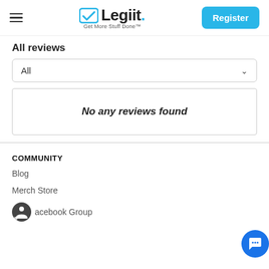Legiit. Get More Stuff Done — Register
All reviews
All (dropdown)
No any reviews found
COMMUNITY
Blog
Merch Store
Facebook Group